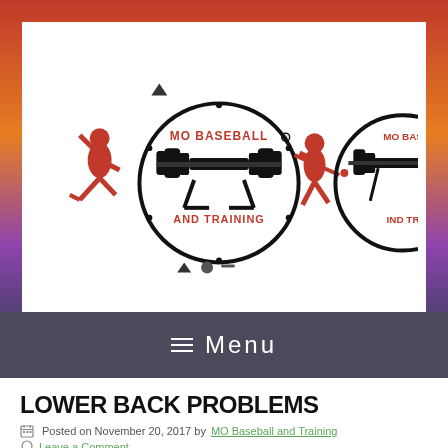[Figure (logo): MO Baseball and Training logo with baseball pitcher and batter silhouettes in red/black, circular weight rack emblem, repeated]
≡ Menu
LOWER BACK PROBLEMS
Posted on November 20, 2017 by MO Baseball and Training
Leave a Comment
[Figure (photo): Partial view of a person's lower back/spine area with blue anatomical visualization on dark background]